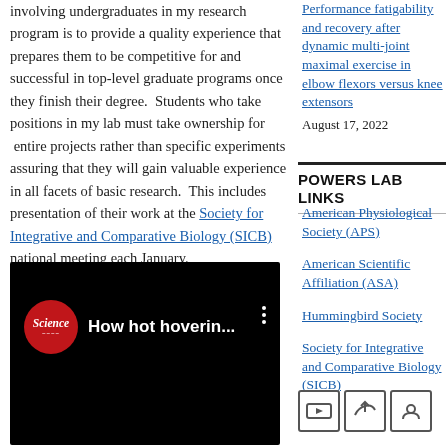involving undergraduates in my research program is to provide a quality experience that prepares them to be competitive for and successful in top-level graduate programs once they finish their degree.  Students who take positions in my lab must take ownership for  entire projects rather than specific experiments assuring that they will gain valuable experience in all facets of basic research.  This includes presentation of their work at the Society for Integrative and Comparative Biology (SICB) national meeting each January.
Performance fatigability and recovery after dynamic multi-joint maximal exercise in elbow flexors versus knee extensors
August 17, 2022
POWERS LAB LINKS
American Physiological Society (APS)
American Scientific Affiliation (ASA)
Hummingbird Society
Society for Integrative and Comparative Biology (SICB)
[Figure (screenshot): YouTube-style video thumbnail with Science magazine logo (red circle) and title 'How hot hoverin...' with three-dot menu on black background]